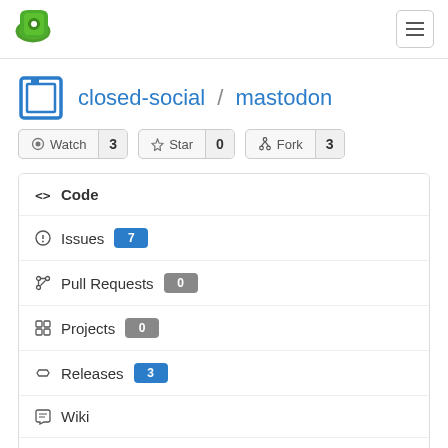Gitea logo and hamburger menu
closed-social / mastodon
Watch 3  Star 0  Fork 3
Code
Issues 7
Pull Requests 0
Projects 0
Releases 3
Wiki
Activity